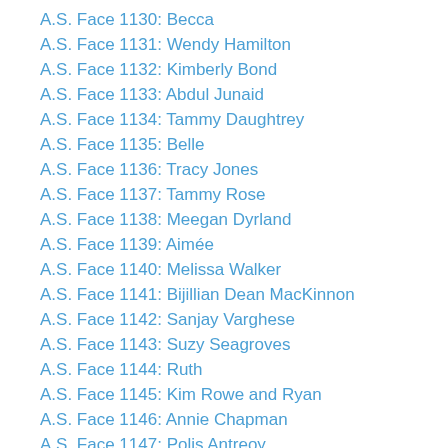A.S. Face 1130: Becca
A.S. Face 1131: Wendy Hamilton
A.S. Face 1132: Kimberly Bond
A.S. Face 1133: Abdul Junaid
A.S. Face 1134: Tammy Daughtrey
A.S. Face 1135: Belle
A.S. Face 1136: Tracy Jones
A.S. Face 1137: Tammy Rose
A.S. Face 1138: Meegan Dyrland
A.S. Face 1139: Aimée
A.S. Face 1140: Melissa Walker
A.S. Face 1141: Bijillian Dean MacKinnon
A.S. Face 1142: Sanjay Varghese
A.S. Face 1143: Suzy Seagroves
A.S. Face 1144: Ruth
A.S. Face 1145: Kim Rowe and Ryan
A.S. Face 1146: Annie Chapman
A.S. Face 1147: Polis Antreoy
A.S. Face 1148: C. L.
A.S. Face 1149: Heather